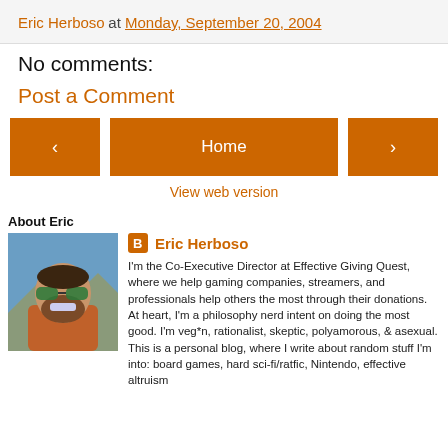Eric Herboso at Monday, September 20, 2004
No comments:
Post a Comment
‹  Home  ›
View web version
About Eric
[Figure (photo): Photo of Eric Herboso wearing green sunglasses and a jacket, outdoors with blue sky and mountains.]
Eric Herboso
I'm the Co-Executive Director at Effective Giving Quest, where we help gaming companies, streamers, and professionals help others the most through their donations. At heart, I'm a philosophy nerd intent on doing the most good. I'm veg*n, rationalist, skeptic, polyamorous, & asexual. This is a personal blog, where I write about random stuff I'm into: board games, hard sci-fi/ratfic, Nintendo, effective altruism